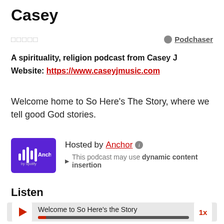Casey
□□□□□   ● Podchaser
A spirituality, religion podcast from Casey J
Website: https://www.caseyjmusic.com
Welcome home to So Here's The Story, where we tell good God stories.
[Figure (logo): Anchor by Spotify purple logo with waveform icon and text 'Anchor. by Spotify']
Hosted by Anchor ℹ This podcast may use dynamic content insertion
Listen
[Figure (other): Audio player showing 'Welcome to So Here's the Story' with play button, progress bar, and 1x speed button]